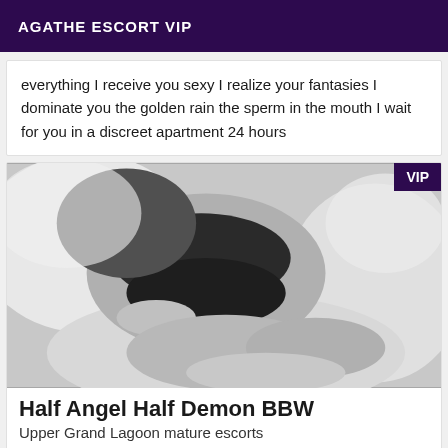AGATHE ESCORT VIP
everything I receive you sexy I realize your fantasies I dominate you the golden rain the sperm in the mouth I wait for you in a discreet apartment 24 hours
[Figure (photo): Black and white photo of a person in black lingerie lying on white pillows/bedding, with a VIP badge in the top right corner]
Half Angel Half Demon BBW
Upper Grand Lagoon mature escorts